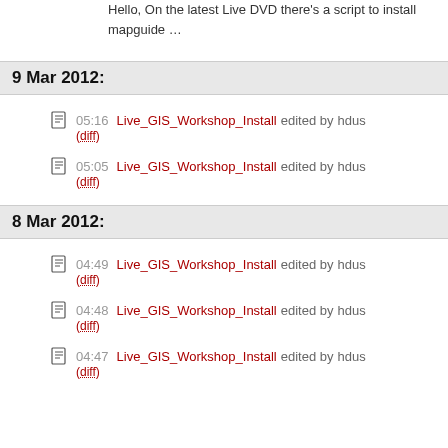Hello, On the latest Live DVD there's a script to install mapguide …
9 Mar 2012:
05:16 Live_GIS_Workshop_Install edited by hdus (diff)
05:05 Live_GIS_Workshop_Install edited by hdus (diff)
8 Mar 2012:
04:49 Live_GIS_Workshop_Install edited by hdus (diff)
04:48 Live_GIS_Workshop_Install edited by hdus (diff)
04:47 Live_GIS_Workshop_Install edited by hdus (diff)